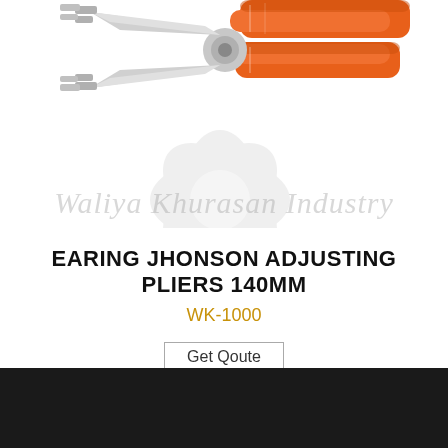[Figure (photo): Earing Johnson adjusting pliers 140mm with orange rubber-coated handles and silver metal jaws, shown diagonally from upper-left. A light grey watermark of the Waliya Khurasan Industry logo (flower/snowflake shape) is visible behind the pliers.]
EARING JHONSON ADJUSTING PLIERS 140MM
WK-1000
Get Qoute